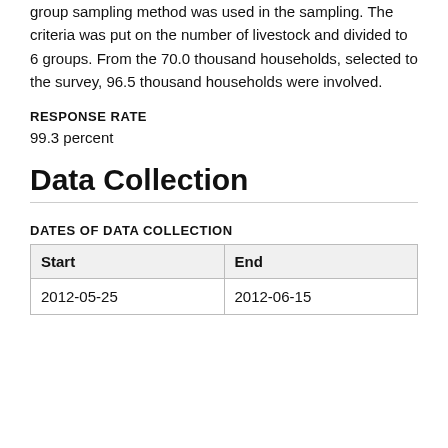group sampling method was used in the sampling. The criteria was put on the number of livestock and divided to 6 groups. From the 70.0 thousand households, selected to the survey, 96.5 thousand households were involved.
RESPONSE RATE
99.3 percent
Data Collection
DATES OF DATA COLLECTION
| Start | End |
| --- | --- |
| 2012-05-25 | 2012-06-15 |